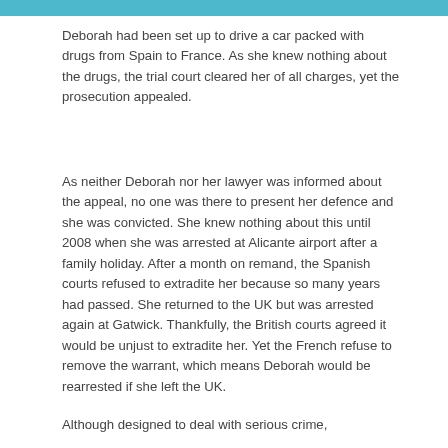European Arrest Warrant
Deborah had been set up to drive a car packed with drugs from Spain to France. As she knew nothing about the drugs, the trial court cleared her of all charges, yet the prosecution appealed.
As neither Deborah nor her lawyer was informed about the appeal, no one was there to present her defence and she was convicted. She knew nothing about this until 2008 when she was arrested at Alicante airport after a family holiday. After a month on remand, the Spanish courts refused to extradite her because so many years had passed. She returned to the UK but was arrested again at Gatwick. Thankfully, the British courts agreed it would be unjust to extradite her. Yet the French refuse to remove the warrant, which means Deborah would be rearrested if she left the UK.
Although designed to deal with serious crime, EAW...